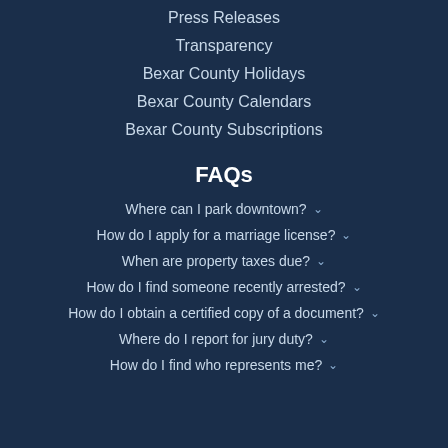Press Releases
Transparency
Bexar County Holidays
Bexar County Calendars
Bexar County Subscriptions
FAQs
Where can I park downtown?
How do I apply for a marriage license?
When are property taxes due?
How do I find someone recently arrested?
How do I obtain a certified copy of a document?
Where do I report for jury duty?
How do I find who represents me?